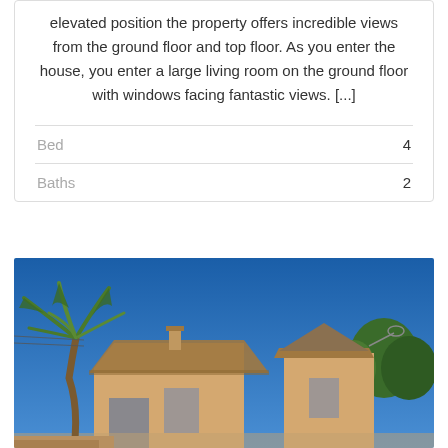elevated position the property offers incredible views from the ground floor and top floor. As you enter the house, you enter a large living room on the ground floor with windows facing fantastic views. [...]
| Bed | 4 |
| Baths | 2 |
[Figure (photo): Exterior photo of a rustic stone/stucco house with terracotta roof tiles under a clear blue sky, with a palm tree on the left side and green trees in the background.]